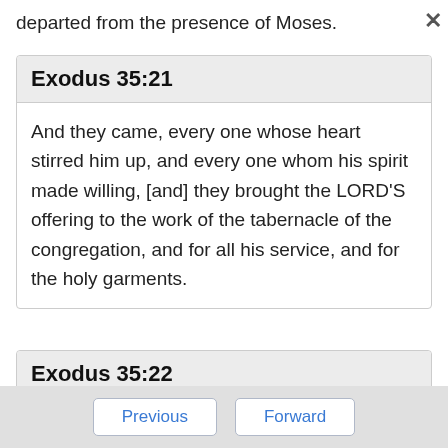departed from the presence of Moses.
Exodus 35:21
And they came, every one whose heart stirred him up, and every one whom his spirit made willing, [and] they brought the LORD'S offering to the work of the tabernacle of the congregation, and for all his service, and for the holy garments.
Exodus 35:22
And they came, both men and women, as many
Previous   Forward